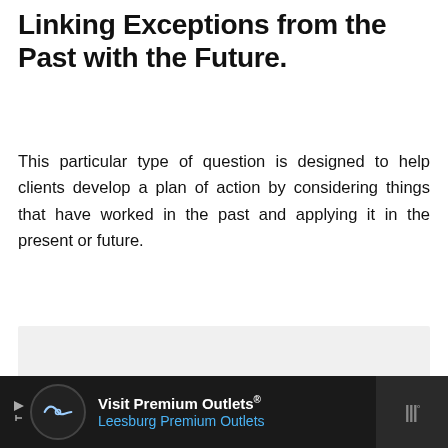Linking Exceptions from the Past with the Future.
This particular type of question is designed to help clients develop a plan of action by considering things that have worked in the past and applying it in the present or future.
[Figure (other): Gray empty box placeholder area]
[Figure (other): Advertisement banner: Visit Premium Outlets® Leesburg Premium Outlets with logo and navigation arrow icon]